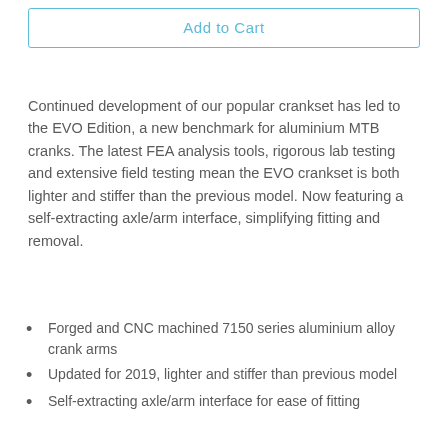Add to Cart
Continued development of our popular crankset has led to the EVO Edition, a new benchmark for aluminium MTB cranks. The latest FEA analysis tools, rigorous lab testing and extensive field testing mean the EVO crankset is both lighter and stiffer than the previous model. Now featuring a self-extracting axle/arm interface, simplifying fitting and removal.
Forged and CNC machined 7150 series aluminium alloy crank arms
Updated for 2019, lighter and stiffer than previous model
Self-extracting axle/arm interface for ease of fitting